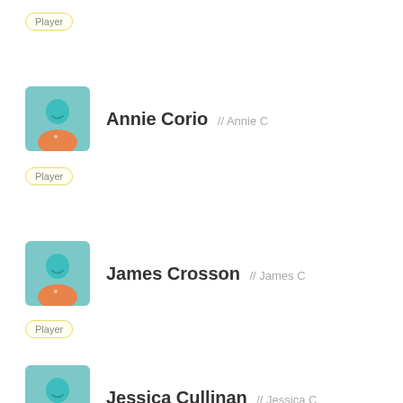Player
[Figure (illustration): Generic player avatar: teal head and shoulders over orange jersey, square with rounded corners, light blue background]
Annie Corio // Annie C
Player
[Figure (illustration): Generic player avatar: teal head and shoulders over orange jersey, square with rounded corners, light blue background]
James Crosson // James C
Player
[Figure (illustration): Generic player avatar: teal head and shoulders over orange jersey, square with rounded corners, light blue background]
Jessica Cullinan // Jessica C